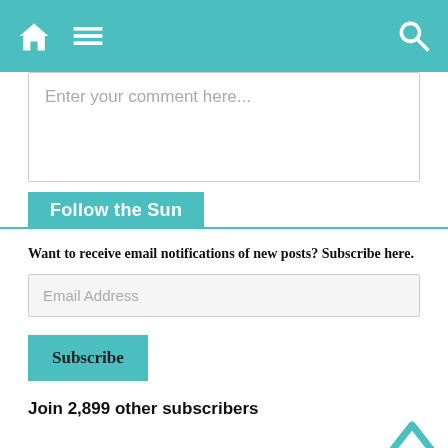[Figure (screenshot): Mobile website navigation bar with teal background, home icon, hamburger menu icon on the left, and search icon on the right]
Enter your comment here...
Follow the Sun
Want to receive email notifications of new posts? Subscribe here.
Email Address
Subscribe
Join 2,899 other subscribers
Featured Posts & Pages